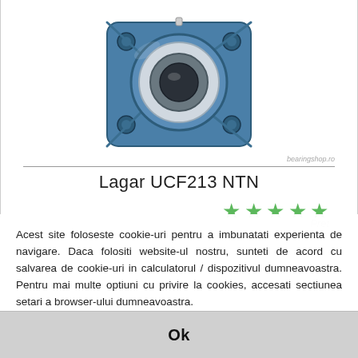[Figure (photo): Blue pillow block bearing UCF213 NTN with four mounting holes and silver inner ring, product photo from bearingshop.ro]
bearingshop.ro
Lagar UCF213 NTN
[Figure (other): Five green star rating icons]
Acest site foloseste cookie-uri pentru a imbunatati experienta de navigare. Daca folositi website-ul nostru, sunteti de acord cu salvarea de cookie-uri in calculatorul / dispozitivul dumneavoastra. Pentru mai multe optiuni cu privire la cookies, accesati sectiunea setari a browser-ului dumneavoastra.
Ok